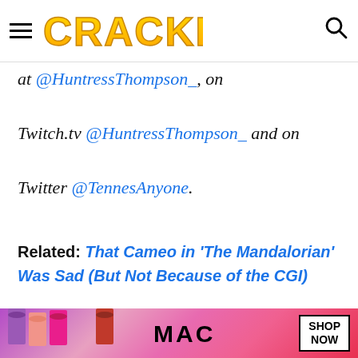CRACKED
at @HuntressThompson_, on Twitch.tv @HuntressThompson_ and on Twitter @TennesAnyone.
Related: That Cameo in 'The Mandalorian' Was Sad (But Not Because of the CGI)
[Figure (infographic): Join the Cracked Movie Club advertisement banner with ticket icon]
[Figure (photo): MAC cosmetics advertisement banner showing lipsticks with SHOP NOW button]